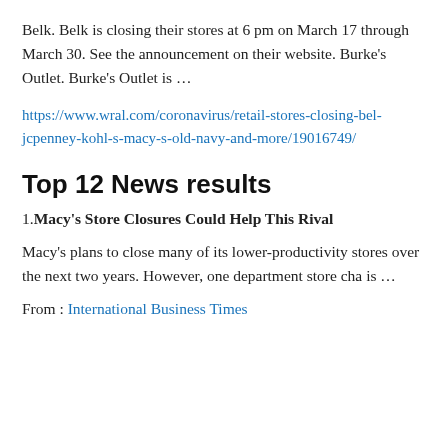Belk. Belk is closing their stores at 6 pm on March 17 through March 30. See the announcement on their website. Burke's Outlet. Burke's Outlet is …
https://www.wral.com/coronavirus/retail-stores-closing-bel-jcpenney-kohl-s-macy-s-old-navy-and-more/19016749/
Top 12 News results
1. Macy's Store Closures Could Help This Rival
Macy's plans to close many of its lower-productivity stores over the next two years. However, one department store cha is …
From : International Business Times